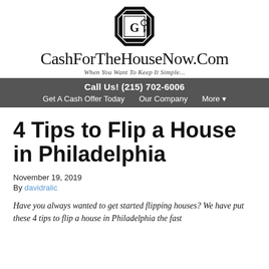[Figure (logo): Black octagonal badge logo with stylized letter G and a key icon inside a white square border]
CashForTheHouseNow.Com
When You Want To Keep It Simple...
Call Us! (215) 702-6006
Get A Cash Offer Today   Our Company   More ▾
4 Tips to Flip a House in Philadelphia
November 19, 2019
By davidralic
Have you always wanted to get started flipping houses? We have put these 4 tips to flip a house in Philadelphia the fast